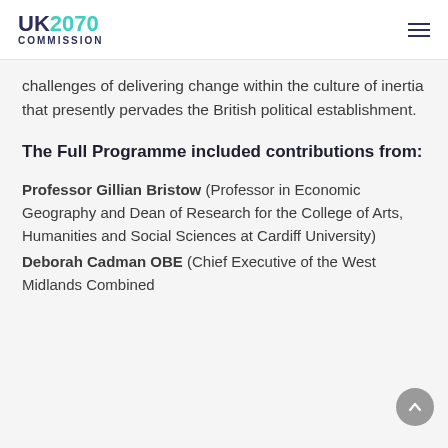UK2070 COMMISSION
challenges of delivering change within the culture of inertia that presently pervades the British political establishment.
The Full Programme included contributions from:
Professor Gillian Bristow (Professor in Economic Geography and Dean of Research for the College of Arts, Humanities and Social Sciences at Cardiff University)
Deborah Cadman OBE (Chief Executive of the West Midlands Combined